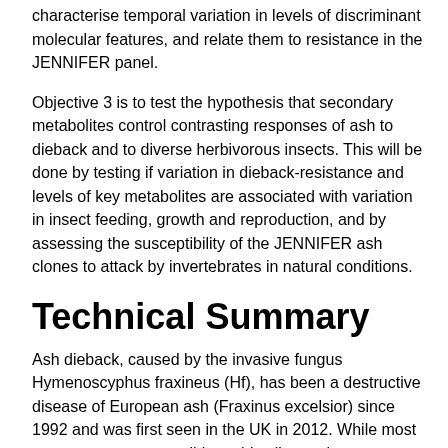characterise temporal variation in levels of discriminant molecular features, and relate them to resistance in the JENNIFER panel.
Objective 3 is to test the hypothesis that secondary metabolites control contrasting responses of ash to dieback and to diverse herbivorous insects. This will be done by testing if variation in dieback-resistance and levels of key metabolites are associated with variation in insect feeding, growth and reproduction, and by assessing the susceptibility of the JENNIFER ash clones to attack by invertebrates in natural conditions.
Technical Summary
Ash dieback, caused by the invasive fungus Hymenoscyphus fraxineus (Hf), has been a destructive disease of European ash (Fraxinus excelsior) since 1992 and was first seen in the UK in 2012. While most trees are very susceptible to this alien pathogen, a small minority are less diseased. As ash in Europe was not previously exposed to Hf, this project aims to understand the evolutionary origin of this polymorphism in terms of the forces of